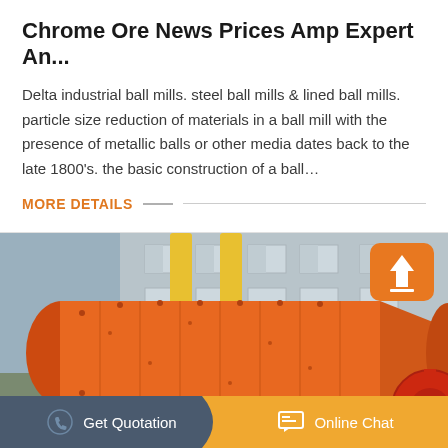Chrome Ore News Prices Amp Expert An...
Delta industrial ball mills. steel ball mills & lined ball mills. particle size reduction of materials in a ball mill with the presence of metallic balls or other media dates back to the late 1800’s. the basic construction of a ball…
MORE DETAILS
[Figure (photo): Large orange industrial ball mill cylinder suspended outdoors near a factory building, with yellow crane structure visible in background and red gear wheel on right side. An orange upload icon button is visible in the top right corner of the image.]
Get Quotation
Online Chat